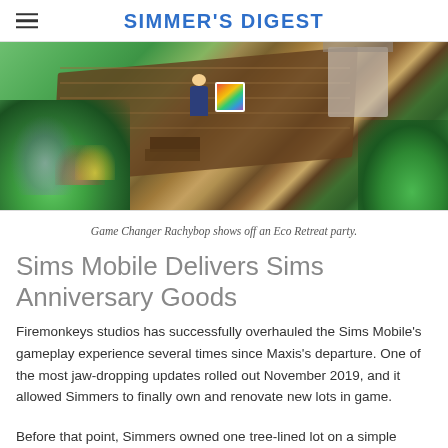SIMMER'S DIGEST
[Figure (photo): Screenshot from The Sims showing an isometric view of a wooden deck area with a Sim character, a rainbow-colored sign, and lush green foliage/garden surroundings.]
Game Changer Rachybop shows off an Eco Retreat party.
Sims Mobile Delivers Sims Anniversary Goods
Firemonkeys studios has successfully overhauled the Sims Mobile's gameplay experience several times since Maxis's departure. One of the most jaw-dropping updates rolled out November 2019, and it allowed Simmers to finally own and renovate new lots in game.
Before that point, Simmers owned one tree-lined lot on a simple street. The multi-lot update expanded Briny Heights